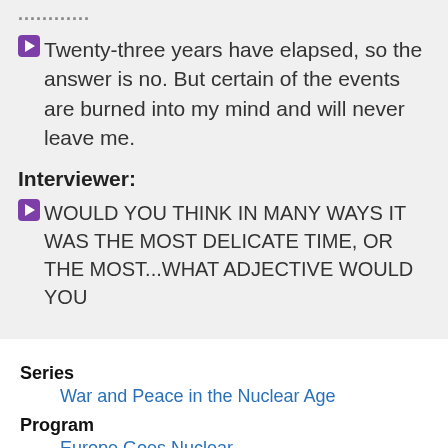Twenty-three years have elapsed, so the answer is no. But certain of the events are burned into my mind and will never leave me.
Interviewer:
WOULD YOU THINK IN MANY WAYS IT WAS THE MOST DELICATE TIME, OR THE MOST...WHAT ADJECTIVE WOULD YOU
Series
War and Peace in the Nuclear Age
Program
Europe Goes Nuclear
Program Number
104